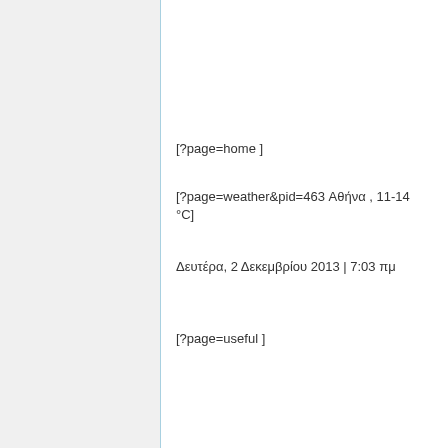[?page=home ]
[?page=weather&pid=463 Αθήνα , 11-14 °C]
Δευτέρα, 2 Δεκεμβρίου 2013 | 7:03 πμ
[?page=useful ]